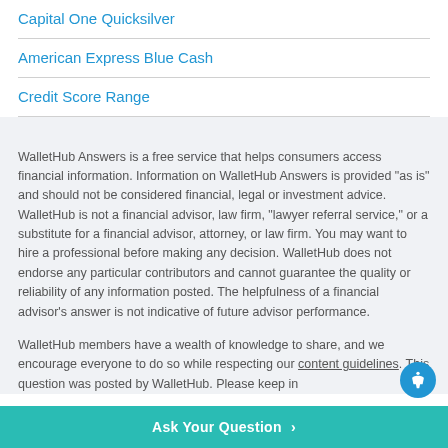Capital One Quicksilver
American Express Blue Cash
Credit Score Range
WalletHub Answers is a free service that helps consumers access financial information. Information on WalletHub Answers is provided “as is” and should not be considered financial, legal or investment advice. WalletHub is not a financial advisor, law firm, “lawyer referral service,” or a substitute for a financial advisor, attorney, or law firm. You may want to hire a professional before making any decision. WalletHub does not endorse any particular contributors and cannot guarantee the quality or reliability of any information posted. The helpfulness of a financial advisor’s answer is not indicative of future advisor performance.
WalletHub members have a wealth of knowledge to share, and we encourage everyone to do so while respecting our content guidelines. This question was posted by WalletHub. Please keep in
Ask Your Question ›